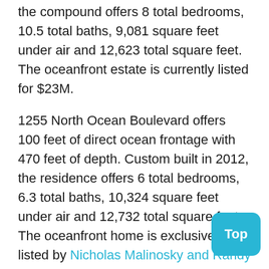the compound offers 8 total bedrooms, 10.5 total baths, 9,081 square feet under air and 12,623 total square feet. The oceanfront estate is currently listed for $23M.
1255 North Ocean Boulevard offers 100 feet of direct ocean frontage with 470 feet of depth. Custom built in 2012, the residence offers 6 total bedrooms, 6.3 total baths, 10,324 square feet under air and 12,732 total square feet. The oceanfront home is exclusively listed by Nicholas Malinosky and Randy Ely for $17.995M. See Property Details
1535 North Ocean Boulevard offers 100 feet of direct ocean frontage. Built in 1998, the residence offers 4 total bedrooms, 4.2 total